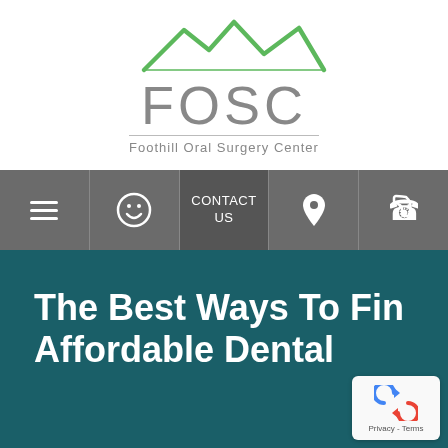[Figure (logo): Foothill Oral Surgery Center logo with green mountain silhouette above FOSC text and subtitle 'Foothill Oral Surgery Center']
[Figure (infographic): Navigation bar with hamburger menu, smiley face icon, CONTACT US text, location pin icon, and phone icon on dark gray background]
The Best Ways To Find Affordable Dental
[Figure (other): reCAPTCHA badge with blue/red circular arrow icon and Privacy - Terms text]